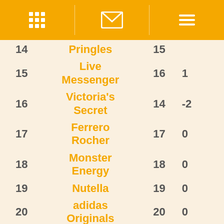Navigation header with grid icon, message icon, and menu icon
| Rank | Brand | Prev Rank | Change |
| --- | --- | --- | --- |
| 14 | Pringles | 15 |  |
| 15 | Live Messenger | 16 | 1 |
| 16 | Victoria's Secret | 14 | -2 |
| 17 | Ferrero Rocher | 17 | 0 |
| 18 | Monster Energy | 18 | 0 |
| 19 | Nutella | 19 | 0 |
| 20 | adidas Originals | 20 | 0 |
| 21 | Xbox | 25 | 4 |